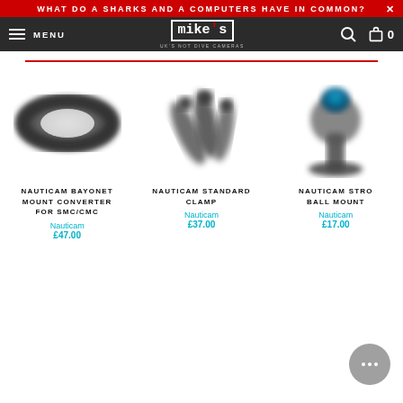WHAT DO A SHARKS AND A COMPUTERS HAVE IN COMMON?
[Figure (screenshot): Mike's Cameras navigation bar with hamburger menu, logo, search icon and cart icon showing 0]
[Figure (photo): Nauticam Bayonet Mount Converter for SMC/CMC product photo - a dark ring-shaped accessory]
NAUTICAM BAYONET MOUNT CONVERTER FOR SMC/CMC
Nauticam
£47.00
[Figure (photo): Nauticam Standard Clamp product photo - dark metal screws/clamp]
NAUTICAM STANDARD CLAMP
Nauticam
£37.00
[Figure (photo): Nauticam Strobe Ball Mount product photo - dark mount with blue accent]
NAUTICAM STROBE BALL MOUNT
Nauticam
£17.00